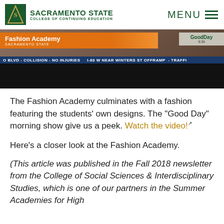SACRAMENTO STATE COLLEGE OF CONTINUING EDUCATION
[Figure (screenshot): Television screenshot showing Fashion Academy Sacramento State segment on Good Day morning show, with news ticker reading 'O BLVD - COLLISION - NO INJURIES  I-80 W NEAR WINTERS ST OFFRAMP - TRAFFI']
The Fashion Academy culminates with a fashion featuring the students' own designs. The “Good Day” morning show give us a peek. Watch the video!​
Here’s a closer look at the Fashion Academy.
(This article was published in the Fall 2018 newsletter from the College of Social Sciences & Interdisciplinary Studies, which is one of our partners in the Summer Academies for High